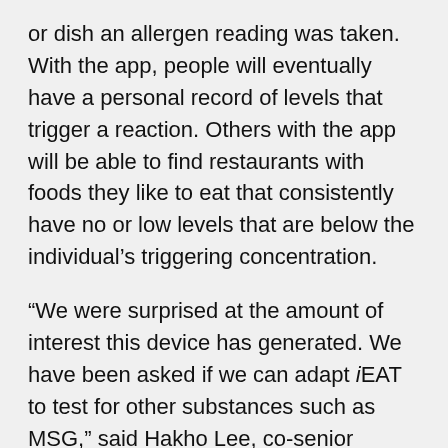or dish an allergen reading was taken. With the app, people will eventually have a personal record of levels that trigger a reaction. Others with the app will be able to find restaurants with foods they like to eat that consistently have no or low levels that are below the individual's triggering concentration.
“We were surprised at the amount of interest this device has generated. We have been asked if we can adapt iEAT to test for other substances such as MSG,” said Hakho Lee, co-senior leader of the project. “The good news is that we definitely can adapt the device to test for just about any allergen.”